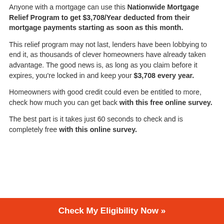Anyone with a mortgage can use this Nationwide Mortgage Relief Program to get $3,708/Year deducted from their mortgage payments starting as soon as this month.
This relief program may not last, lenders have been lobbying to end it, as thousands of clever homeowners have already taken advantage. The good news is, as long as you claim before it expires, you're locked in and keep your $3,708 every year.
Homeowners with good credit could even be entitled to more, check how much you can get back with this free online survey.
The best part is it takes just 60 seconds to check and is completely free with this online survey.
Check My Eligibility Now »